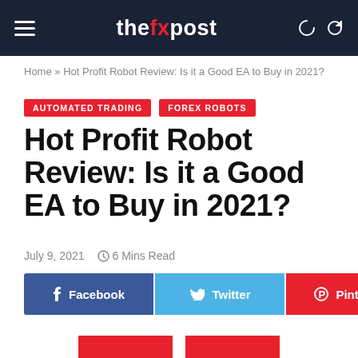thefxpost
Home » Hot Profit Robot Review: Is it a Good EA to Buy in 2021?
AUTOMATED TRADING
FOREX ROBOTS
Hot Profit Robot Review: Is it a Good EA to Buy in 2021?
July 9, 2021  6 Mins Read
Facebook  Twitter  Pinterest  Share